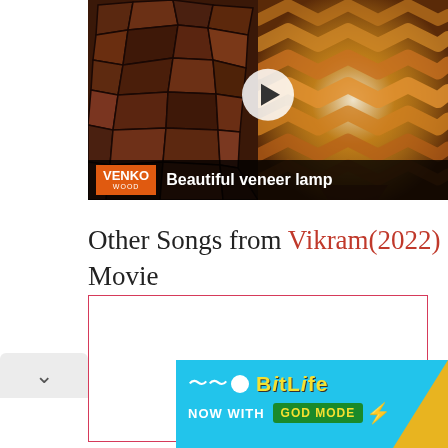[Figure (screenshot): Video thumbnail showing a veneer lamp with mosaic wood pattern on left and zigzag glowing lamp on right, with a play button overlay and VENKO WOOD branding bar at bottom reading 'Beautiful veneer lamp']
Other Songs from Vikram(2022) Movie
[Figure (screenshot): Empty bordered content box for song listings from Vikram 2022 movie]
[Figure (screenshot): BitLife advertisement banner - NOW WITH GOD MODE on cyan background with yellow text]